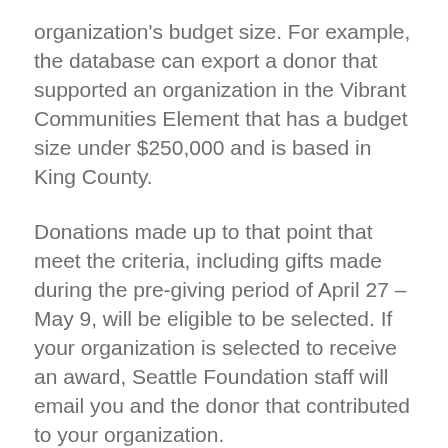organization's budget size. For example, the database can export a donor that supported an organization in the Vibrant Communities Element that has a budget size under $250,000 and is based in King County.
Donations made up to that point that meet the criteria, including gifts made during the pre-giving period of April 27 – May 9, will be eligible to be selected. If your organization is selected to receive an award, Seattle Foundation staff will email you and the donor that contributed to your organization.
Dollars for Change is an amazing opportunity for nonprofits to receive additional funds that contribute to the important work that you do! Thank you for your support of GiveBIG.